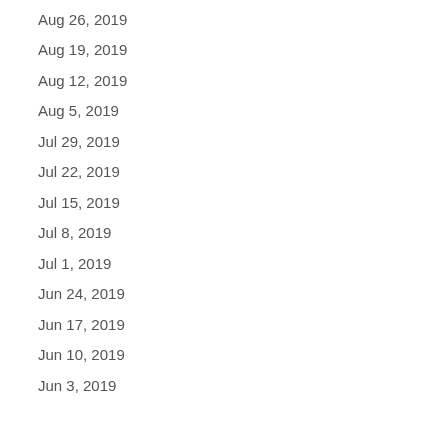Aug 26, 2019
Aug 19, 2019
Aug 12, 2019
Aug 5, 2019
Jul 29, 2019
Jul 22, 2019
Jul 15, 2019
Jul 8, 2019
Jul 1, 2019
Jun 24, 2019
Jun 17, 2019
Jun 10, 2019
Jun 3, 2019